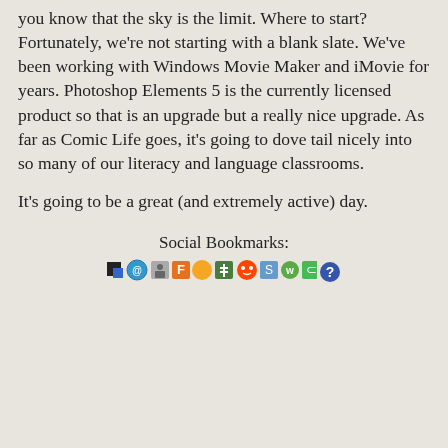you know that the sky is the limit. Where to start? Fortunately, we're not starting with a blank slate. We've been working with Windows Movie Maker and iMovie for years. Photoshop Elements 5 is the currently licensed product so that is an upgrade but a really nice upgrade. As far as Comic Life goes, it's going to dove tail nicely into so many of our literacy and language classrooms.
It's going to be a great (and extremely active) day.
Social Bookmarks:
[Figure (illustration): Row of social bookmarking service icons]
Privacy & Cookies: This site uses cookies. By continuing to use this website, you agree to their use. To find out more, including how to control cookies, see here: Cookie Policy